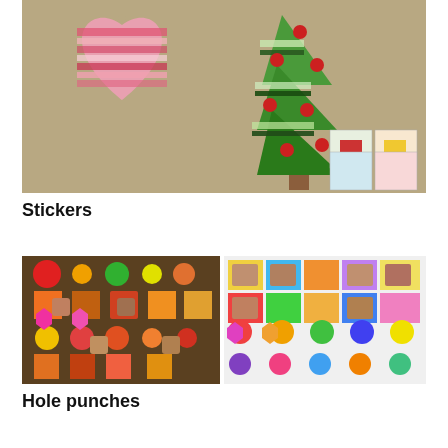[Figure (photo): Two holiday crafts on brown cardboard background: a pink heart-shaped ornament decorated with red and pink washi tape strips and patterns, and a green Christmas tree shape decorated with green and dark green washi tape and red round ornament stickers, with small decorative cards in the bottom right.]
Stickers
[Figure (photo): Two images of colorful sticker/hole-punch art: left image shows acrylic/glass panels with orange, pink, red, and yellow geometric shapes and circle stickers with child photo stickers; right image shows flat paper compositions with colorful squares, circles, and child photo stickers in bright yellow, orange, red, green, purple, and blue on white paper.]
Hole punches